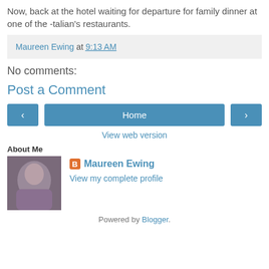Now, back at the hotel waiting for departure for family dinner at one of the -talian's restaurants.
Maureen Ewing at 9:13 AM
No comments:
Post a Comment
[Figure (other): Navigation buttons: left arrow, Home button, right arrow, and View web version link]
About Me
[Figure (photo): Profile photo of Maureen Ewing]
Maureen Ewing
View my complete profile
Powered by Blogger.